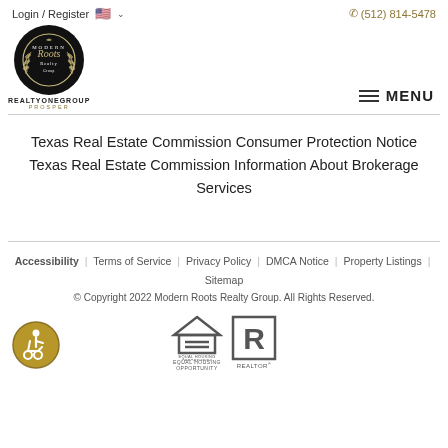Login / Register  🇺🇸 ∨   (512) 814-5478
[Figure (logo): Modern Roots Realty Group circular black logo with REALTY ONE GROUP PROSPER text below]
≡ MENU
Texas Real Estate Commission Consumer Protection Notice Texas Real Estate Commission Information About Brokerage Services
Accessibility | Terms of Service | Privacy Policy | DMCA Notice | Property Listings | Sitemap © Copyright 2022 Modern Roots Realty Group. All Rights Reserved.
[Figure (logo): ADA accessibility logo (gold circle with wheelchair user icon)]
[Figure (logo): Equal Housing Opportunity logo]
[Figure (logo): REALTOR® logo]